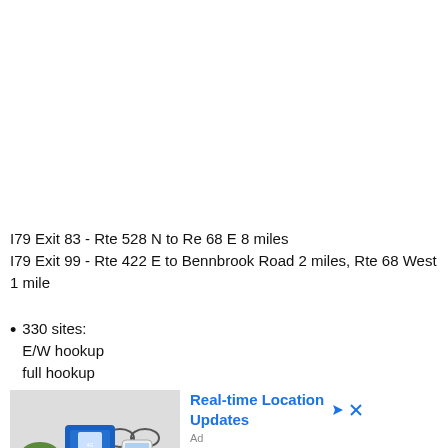I79 Exit 83 - Rte 528 N to Re 68 E 8 miles
I79 Exit 99 - Rte 422 E to Bennbrook Road 2 miles, Rte 68 West 1 mile
330 sites:
E/W hookup
full hookup
[Figure (infographic): Advertisement banner showing a GPS/location device product on a table with glasses and plants, with text 'Real-time Location Updates' and 'Ad' label.]